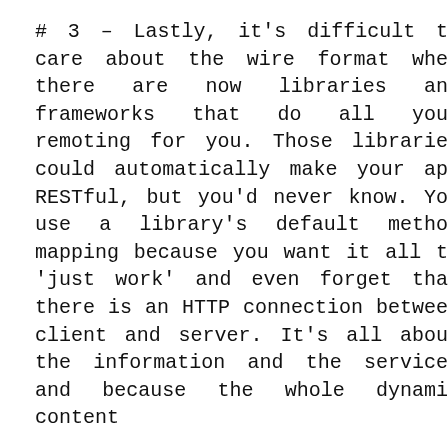# 3 – Lastly, it's difficult to care about the wire format when there are now libraries and frameworks that do all your remoting for you. Those libraries could automatically make your app RESTful, but you'd never know. You use a library's default method mapping because you want it all to 'just work' and even forget that there is an HTTP connection between client and server. It's all about the information and the service, and because the whole dynamic content